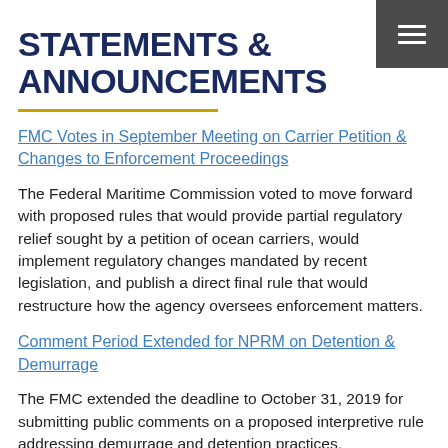STATEMENTS & ANNOUNCEMENTS
FMC Votes in September Meeting on Carrier Petition & Changes to Enforcement Proceedings
The Federal Maritime Commission voted to move forward with proposed rules that would provide partial regulatory relief sought by a petition of ocean carriers, would implement regulatory changes mandated by recent legislation, and publish a direct final rule that would restructure how the agency oversees enforcement matters.
Comment Period Extended for NPRM on Detention & Demurrage
The FMC extended the deadline to October 31, 2019 for submitting public comments on a proposed interpretive rule addressing demurrage and detention practices.